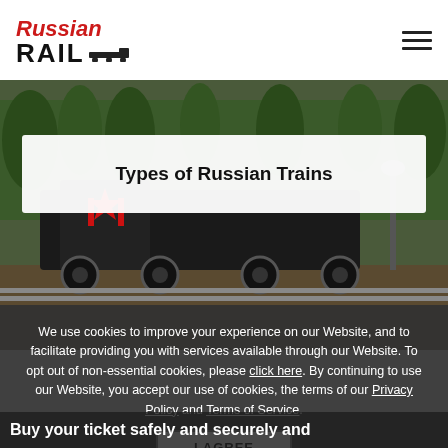[Figure (logo): Russian Rail logo with red italic 'Russian' text and bold black 'RAIL' with train icon]
[Figure (photo): Photograph of a classic Russian steam locomotive with a red star, in a forested rail yard]
Types of Russian Trains
We use cookies to improve your experience on our Website, and to facilitate providing you with services available through our Website. To opt out of non-essential cookies, please click here. By continuing to use our Website, you accept our use of cookies, the terms of our Privacy Policy and Terms of Service.
I AGREE
Buy your ticket safely and securely and